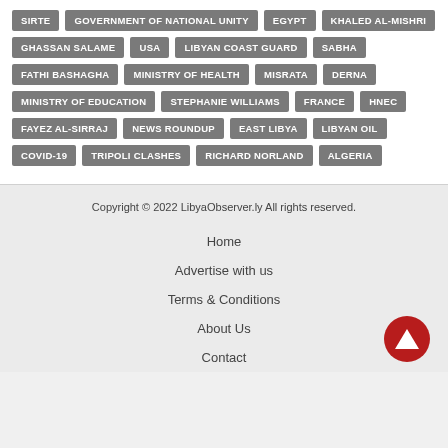SIRTE
GOVERNMENT OF NATIONAL UNITY
EGYPT
KHALED AL-MISHRI
GHASSAN SALAME
USA
LIBYAN COAST GUARD
SABHA
FATHI BASHAGHA
MINISTRY OF HEALTH
MISRATA
DERNA
MINISTRY OF EDUCATION
STEPHANIE WILLIAMS
FRANCE
HNEC
FAYEZ AL-SIRRAJ
NEWS ROUNDUP
EAST LIBYA
LIBYAN OIL
COVID-19
TRIPOLI CLASHES
RICHARD NORLAND
ALGERIA
Copyright © 2022 LibyaObserver.ly All rights reserved.
Home
Advertise with us
Terms & Conditions
About Us
Contact